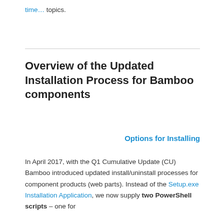time… topics.
Overview of the Updated Installation Process for Bamboo components
Options for Installing
In April 2017, with the Q1 Cumulative Update (CU) Bamboo introduced updated install/uninstall processes for component products (web parts). Instead of the Setup.exe Installation Application, we now supply two PowerShell scripts – one for